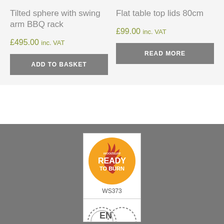Tilted sphere with swing arm BBQ rack
£495.00 inc. VAT
ADD TO BASKET
Flat table top lids 80cm
£99.00 inc. VAT
READ MORE
[Figure (logo): Woodsure Ready to Burn certification logo - orange circle with flame graphic, text 'woodsure READY TO BURN', certificate number WS373]
[Figure (logo): Partially visible EN certification mark at bottom]